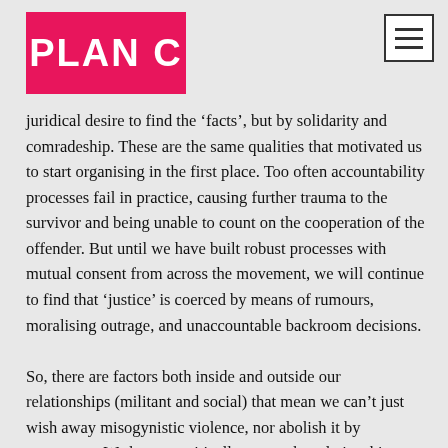PLAN C
juridical desire to find the ‘facts’, but by solidarity and comradeship. These are the same qualities that motivated us to start organising in the first place. Too often accountability processes fail in practice, causing further trauma to the survivor and being unable to count on the cooperation of the offender. But until we have built robust processes with mutual consent from across the movement, we will continue to find that ‘justice’ is coerced by means of rumours, moralising outrage, and unaccountable backroom decisions.

So, there are factors both inside and outside our relationships (militant and social) that mean we can’t just wish away misogynistic violence, nor abolish it by statements. We have to critically assess the relationships themselves as a factor in any justice. In this particular